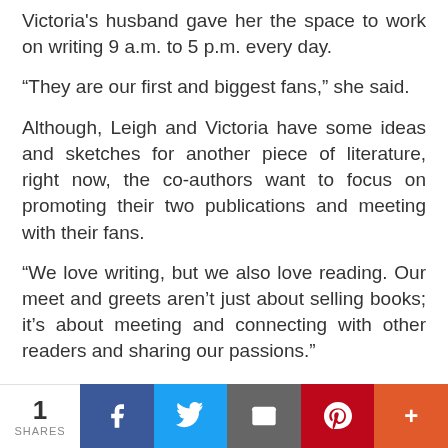Victoria's husband gave her the space to work on writing 9 a.m. to 5 p.m. every day.
“They are our first and biggest fans,” she said.
Although, Leigh and Victoria have some ideas and sketches for another piece of literature, right now, the co-authors want to focus on promoting their two publications and meeting with their fans.
“We love writing, but we also love reading. Our meet and greets aren’t just about selling books; it’s about meeting and connecting with other readers and sharing our passions.”
The two novels are available on Amazon in paperback and Kindle editions. They can also be found at local bookstores. For more information on Leigh and Victoria or their books, visit their authorial website,
1 SHARES | Facebook | Twitter | Email | Pinterest | More